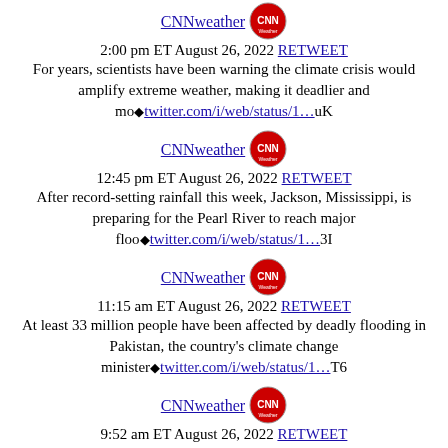CNNweather 2:00 pm ET August 26, 2022 RETWEET
For years, scientists have been warning the climate crisis would amplify extreme weather, making it deadlier and mo■twitter.com/i/web/status/1…uK
CNNweather 12:45 pm ET August 26, 2022 RETWEET
After record-setting rainfall this week, Jackson, Mississippi, is preparing for the Pearl River to reach major floo■twitter.com/i/web/status/1…3I
CNNweather 11:15 am ET August 26, 2022 RETWEET
At least 33 million people have been affected by deadly flooding in Pakistan, the country's climate change minister■twitter.com/i/web/status/1…T6
CNNweather 9:52 am ET August 26, 2022 RETWEET
Archive
August 2012